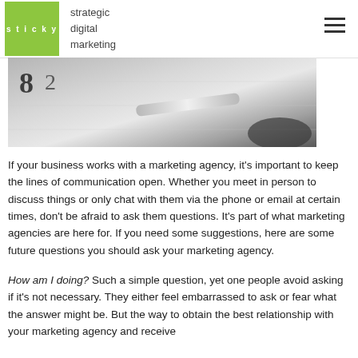sticky strategic digital marketing
[Figure (photo): Close-up photo of a paper with numbers and a pin or needle resting on it, in grayscale tones.]
If your business works with a marketing agency, it’s important to keep the lines of communication open. Whether you meet in person to discuss things or only chat with them via the phone or email at certain times, don’t be afraid to ask them questions. It’s part of what marketing agencies are here for. If you need some suggestions, here are some future questions you should ask your marketing agency.
How am I doing? Such a simple question, yet one people avoid asking if it’s not necessary. They either feel embarrassed to ask or fear what the answer might be. But the way to obtain the best relationship with your marketing agency and receive